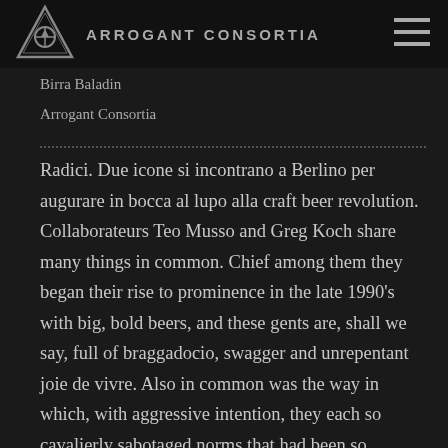ARROGANT CONSORTIA
Birra Baladin
Arrogant Consortia
Radici. Due icone si incontrano a Berlino per augurare in bocca al lupo alla craft beer revolution. Collaborateurs Teo Musso and Greg Koch share many things in common. Chief among them they began their rise to prominence in the late 1990's with big, bold beers, and these gents are, shall we say, full of braggadocio, swagger and unrepentant joie de vivre. Also in common was the way in which, with aggressive intention, they each so cavalierly sabotaged norms that had been so irresponsibly led by the lowest common